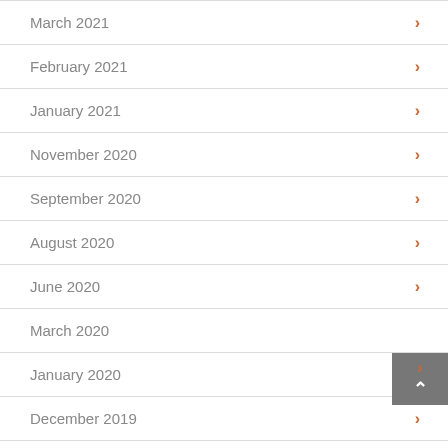March 2021
February 2021
January 2021
November 2020
September 2020
August 2020
June 2020
March 2020
January 2020
December 2019